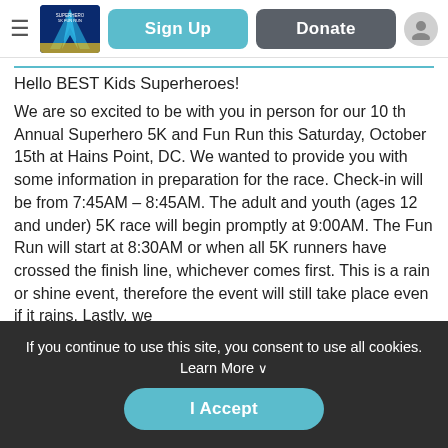[Figure (screenshot): Navigation bar with hamburger menu, event logo, Sign Up button (teal), Donate button (gray), and user profile icon]
Hello BEST Kids Superheroes!
We are so excited to be with you in person for our 10 th Annual Superhero 5K and Fun Run this Saturday, October 15th at Hains Point, DC. We wanted to provide you with some information in preparation for the race. Check-in will be from 7:45AM – 8:45AM. The adult and youth (ages 12 and under) 5K race will begin promptly at 9:00AM. The Fun Run will start at 8:30AM or when all 5K runners have crossed the finish line, whichever comes first. This is a rain or shine event, therefore the event will still take place even if it rains. Lastly, we
If you continue to use this site, you consent to use all cookies. Learn More ∨
I Accept